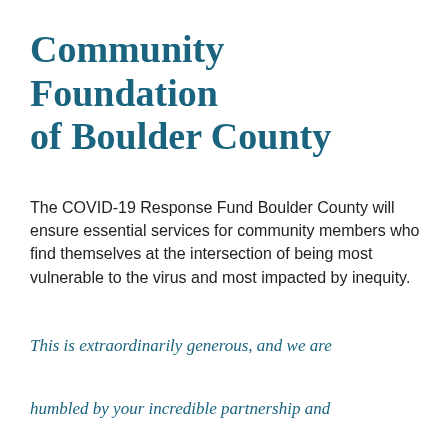Community Foundation of Boulder County
The COVID-19 Response Fund Boulder County will ensure essential services for community members who find themselves at the intersection of being most vulnerable to the virus and most impacted by inequity.
This is extraordinarily generous, and we are humbled by your incredible partnership and support!